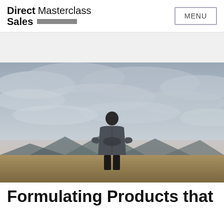Direct Masterclass Sales [logo bar] | MENU
[Figure (photo): A man standing in an open field, hands pressed together in front of his chest, looking upward at a dramatic cloudy sky with mountains in the background. He is wearing a grey zip-up jacket.]
Formulating Products that